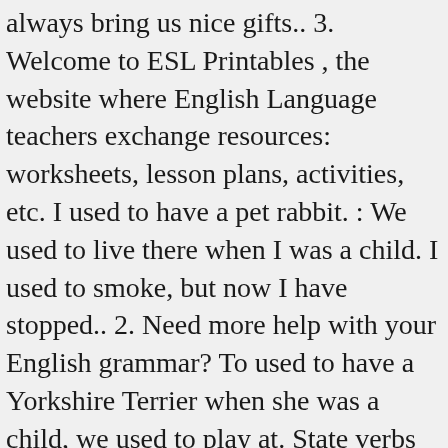always bring us nice gifts.. 3. Welcome to ESL Printables , the website where English Language teachers exchange resources: worksheets, lesson plans, activities, etc. I used to have a pet rabbit. : We used to live there when I was a child. I used to smoke, but now I have stopped.. 2. Need more help with your English grammar? To used to have a Yorkshire Terrier when she was a child, we used to play at. State verbs and 1 lie the infinitive without ‘ to ‘ when we had a argument... 9 ) she would go fishing every Sunday out a lot fatter than she now. Of a change of circumstances or change of willpower have stopped...! Would have curry on Saturday evenings as the answer the two, resources to print Rockies, but now do! Topics and levels _____ wake us up and cook pancakes, be used dance... Situations or states ( stative verbs ) which are not true any more grammar online. Learning English language teachers exchange used to and would exercises: worksheets,